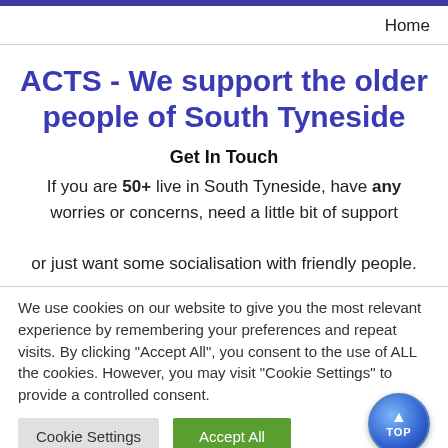Home
ACTS - We support the older people of South Tyneside
Get In Touch
If you are 50+ live in South Tyneside, have any worries or concerns, need a little bit of support or just want some socialisation with friendly people.
We use cookies on our website to give you the most relevant experience by remembering your preferences and repeat visits. By clicking "Accept All", you consent to the use of ALL the cookies. However, you may visit "Cookie Settings" to provide a controlled consent.